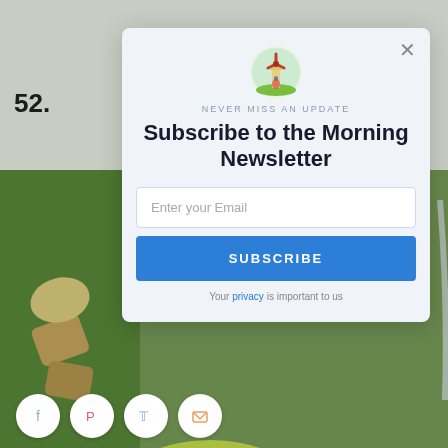52.
[Figure (photo): Background photo of a colorful salad bowl with lime slices, avocado, tomatoes, chickpeas, and herbs]
[Figure (logo): Windmill logo icon with red and green illustration inside a circular badge]
NEVER MISS AN UPDATE
Subscribe to the Morning Newsletter
Enter your Email
SUBSCRIBE
Your privacy is important to us
[Figure (infographic): Social share icons row: Facebook, Pinterest, Twitter, Email]